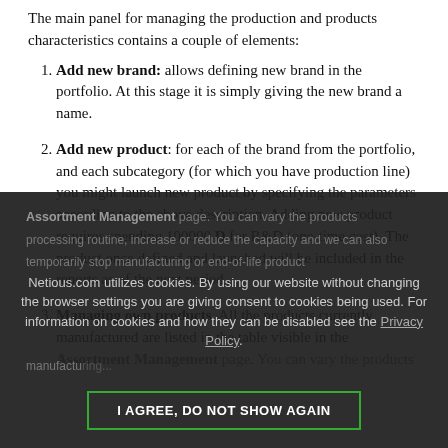The main panel for managing the production and products characteristics contains a couple of elements:
Add new brand: allows defining new brand in the portfolio. At this stage it is simply giving the new brand a name.
Add new product: for each of the brand from the portfolio, and each subcategory (for which you have production line) you might launch new product by specifying the parameters according to the above description. Adding new product requires spending 100000 D for R&D (one-time cost). The product once defined and launched will be included in the reports as of the next period.
Managing own products. All the products currently manufactured are listed in the table visible in the Assortment Management page. You can vary the products...
Netious.com utilizes cookies. By using our website without changing the browser settings you are giving consent to cookies being used. For information on cookies and how they can be disabled see the Privacy Policy.
I AGREE, DO NOT SHOW AGAIN